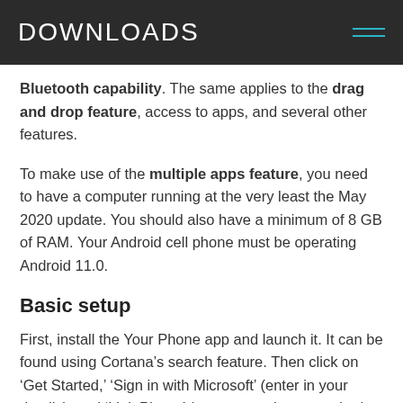DOWNLOADS
Bluetooth capability. The same applies to the drag and drop feature, access to apps, and several other features.
To make use of the multiple apps feature, you need to have a computer running at the very least the May 2020 update. You should also have a minimum of 8 GB of RAM. Your Android cell phone must be operating Android 11.0.
Basic setup
First, install the Your Phone app and launch it. It can be found using Cortana’s search feature. Then click on ‘Get Started,’ ‘Sign in with Microsoft’ (enter in your details), and ‘Link Phone’ (enter your phone number). Your cell